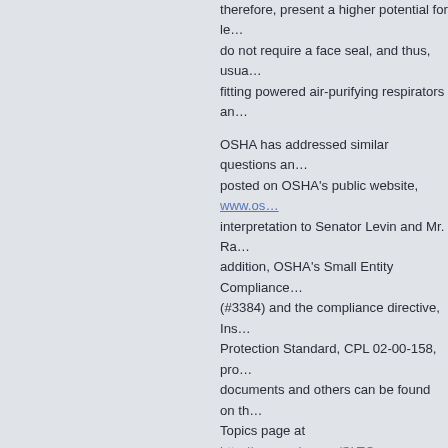therefore, present a higher potential for le… do not require a face seal, and thus, usua… fitting powered air-purifying respirators an…
OSHA has addressed similar questions an… posted on OSHA's public website, www.os… interpretation to Senator Levin and Mr. Ra… addition, OSHA's Small Entity Compliance… (#3384) and the compliance directive, Ins… Protection Standard, CPL 02-00-158, pro… documents and others can be found on th… Topics page at http://www.osha.gov/SLTC…
Thank you for your interest in occupationa… information helpful. OSHA's requirements… Our letters of interpretation do not create … these requirements and how they apply to… OSHA's interpretation of the requirements… affected when the agency updates a stan… changes in technology affect the interpret… information and guidance, please consult … have further questions, please feel free to… (202) 693-2190.
Sincerely,